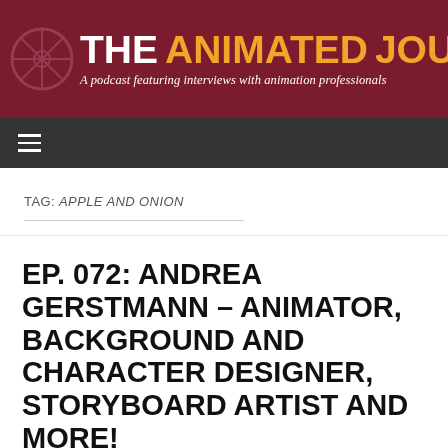THE ANIMATED JOURNEY — A podcast featuring interviews with animation professionals
TAG: APPLE AND ONION
EP. 072: ANDREA GERSTMANN – ANIMATOR, BACKGROUND AND CHARACTER DESIGNER, STORYBOARD ARTIST AND MORE!
MAY 29, 2018